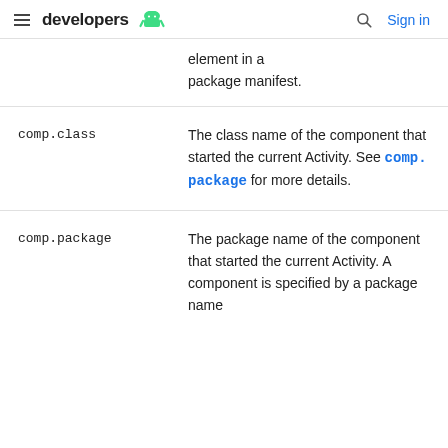developers (android logo) | Sign in
element in a package manifest.
| Term | Description |
| --- | --- |
| comp.class | The class name of the component that started the current Activity. See comp.package for more details. |
| comp.package | The package name of the component that started the current Activity. A component is specified by a package name |